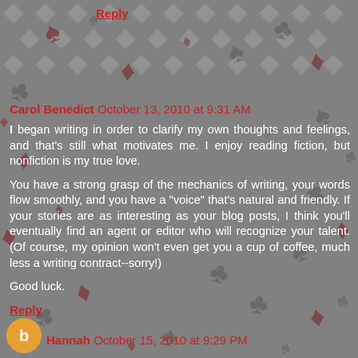Reply
Carol Benedict October 13, 2010 at 9:31 AM
I began writing in order to clarify my own thoughts and feelings, and that's still what motivates me. I enjoy reading fiction, but nonfiction is my true love.
You have a strong grasp of the mechanics of writing, your words flow smoothly, and you have a "voice" that's natural and friendly. If your stories are as interesting as your blog posts, I think you'll eventually find an agent or editor who will recognize your talent. (Of course, my opinion won't even get you a cup of coffee, much less a writing contract--sorry!)
Good luck.
Reply
Hannah October 15, 2010 at 9:29 PM